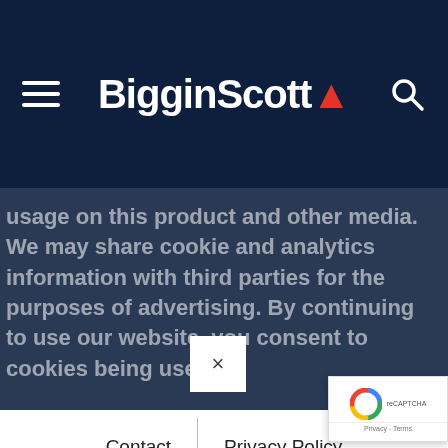BigginScott
usage on this product and other media. We may share cookie and analytics information with third parties for the purposes of advertising. By continuing to use our website, you consent to cookies being used.
Contact
Privacy Policy
Terms & Conditions
© Biggin & Scott 2022
Digital Agency - Supple